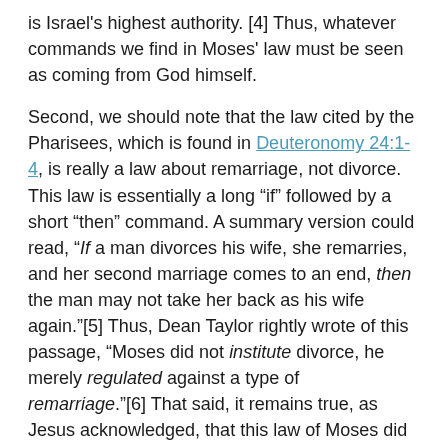is Israel's highest authority. [4] Thus, whatever commands we find in Moses' law must be seen as coming from God himself.
Second, we should note that the law cited by the Pharisees, which is found in Deuteronomy 24:1-4, is really a law about remarriage, not divorce. This law is essentially a long "if" followed by a short "then" command. A summary version could read, "If a man divorces his wife, she remarries, and her second marriage comes to an end, then the man may not take her back as his wife again."[5] Thus, Dean Taylor rightly wrote of this passage, "Moses did not institute divorce, he merely regulated against a type of remarriage."[6] That said, it remains true, as Jesus acknowledged, that this law of Moses did "allow" divorce.
Laws Requiring Divorce
What is less well known is that in some cases the law of Moses actually required divorce. For example, in Exodus 21:11 a master-husband was instructed to give his Hebrew slave-wife her food, clothing, and marital rights, without diminishing them if he took